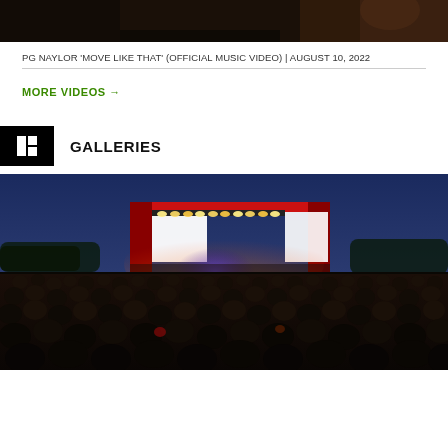[Figure (photo): Top portion of a music video thumbnail, dark tones with warm brown hues, partial view]
PG NAYLOR 'MOVE LIKE THAT' (OFFICIAL MUSIC VIDEO) | AUGUST 10, 2022
MORE VIDEOS →
GALLERIES
[Figure (photo): Concert photo at dusk/sunset showing a large outdoor music festival stage with bright lights, large LED screens, red stage structure, and a massive crowd in the foreground under a blue sky]